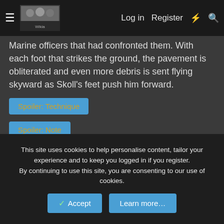≡  [logo image]  Log in  Register  ⚡  🔍
Marine officers that had confronted them. With each foot that strikes the ground, the pavement is obliterated and even more debris is sent flying skyward as Skoll's feet push him forward.
Spoiler: Technique
Spoiler: Note
As Skoll crosses over the plaza and into the buildings once again, the momentum of his charge is so strong that the buildings beside him are torn up from their foundations and smash into the buildings behind them. Blocks away, citizens that had yet to take shelter see Skoll charging forward begin to scream and scatter in every direction.
This site uses cookies to help personalise content, tailor your experience and to keep you logged in if you register.
By continuing to use this site, you are consenting to our use of cookies.